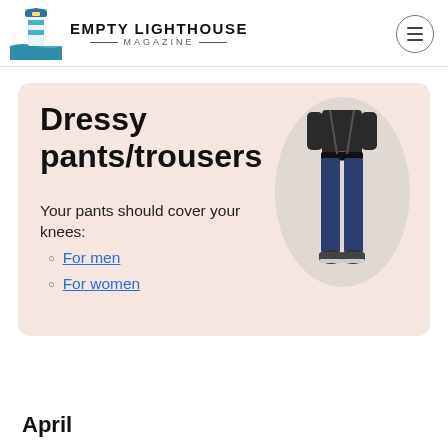EMPTY LIGHTHOUSE MAGAZINE
Dressy pants/trousers
Your pants should cover your knees:
For men
For women
[Figure (photo): A person wearing navy blue dressy trousers and dark sneakers, shown from waist to feet, inside an oval-shaped frame on a light pink card background.]
April